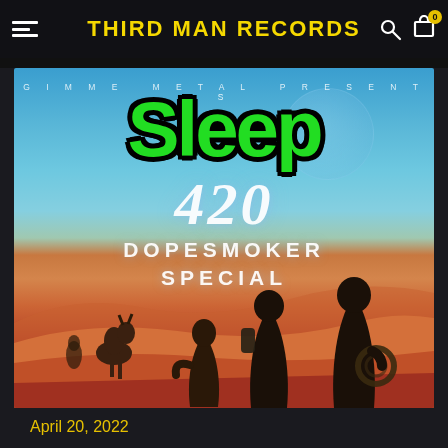THIRD MAN RECORDS
[Figure (illustration): Album promotional artwork for Sleep - 420 Dopesmoker Special, presented by Gimme Metal. Shows the band name Sleep in large green graffiti-style letters with black outline at top, below it '420 Dopesmoker Special' in white stylized text, over a desert landscape with robed figures walking with camels across red sand dunes under a blue sky.]
April 20, 2022